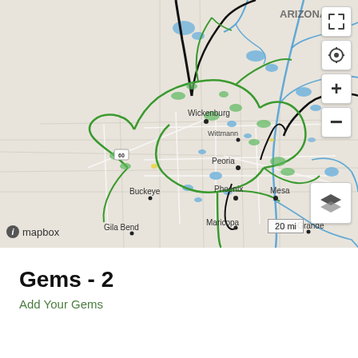[Figure (map): Mapbox map showing the Phoenix, Arizona metro area with green route overlays, blue water features, and black route lines. Cities labeled include Wickenburg, Wittmann, Peoria, Buckeye, Phoenix, Mesa, Maricopa, Gila Bend, and Casa Grande. Map controls visible on right side. Scale bar shows 20 mi. Mapbox logo in bottom left.]
Gems - 2
Add Your Gems